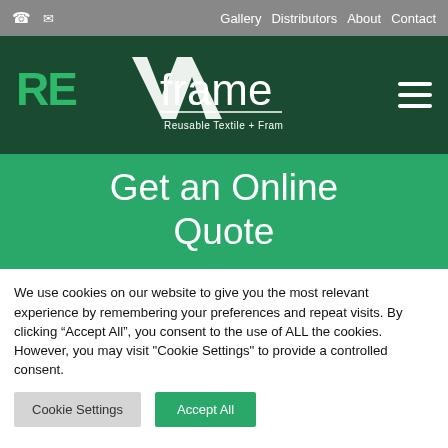Gallery  Distributors  About  Contact
[Figure (logo): REXframe logo — Reusable Textile + Frame System — white and green text on dark green background]
Get an Online Quote
We use cookies on our website to give you the most relevant experience by remembering your preferences and repeat visits. By clicking “Accept All”, you consent to the use of ALL the cookies. However, you may visit "Cookie Settings" to provide a controlled consent.
Cookie Settings  Accept All